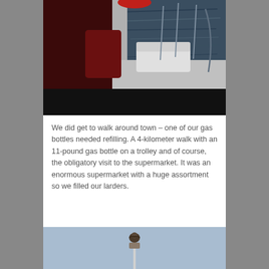[Figure (photo): View from the deck of a sailboat underway on choppy water; red element visible at top, metal railings and rigging, dark black band at bottom of photo]
We did get to walk around town – one of our gas bottles needed refilling.  A 4-kilometer walk with an 11-pound gas bottle on a trolley and of course, the obligatory visit to the supermarket.  It was an enormous supermarket with a huge assortment so we filled our larders.
[Figure (photo): A bird perched on top of a tall mast or pole against a light blue sky]